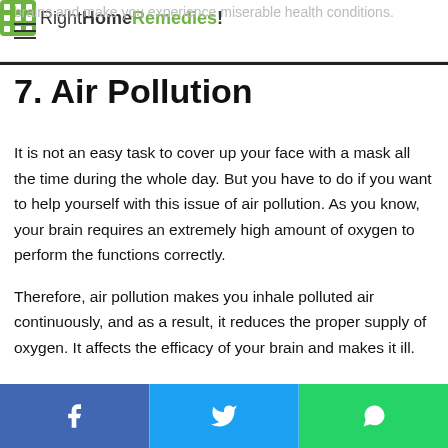RightHomeRemedies!
7. Air Pollution
It is not an easy task to cover up your face with a mask all the time during the whole day. But you have to do if you want to help yourself with this issue of air pollution. As you know, your brain requires an extremely high amount of oxygen to perform the functions correctly.
Therefore, air pollution makes you inhale polluted air continuously, and as a result, it reduces the proper supply of oxygen. It affects the efficacy of your brain and makes it ill.
Moreover, it would not let your brain develop properly and reduce your intelligence up to a great level. It leads you
Share buttons: Facebook, Twitter, WhatsApp